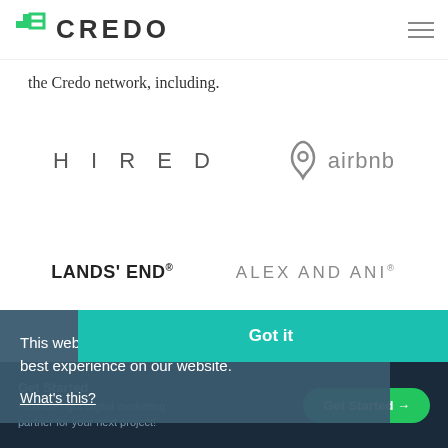[Figure (logo): Credo logo with green geometric icon and CREDO wordmark]
the Credo network, including.
[Figure (logo): HIRED logo in spaced uppercase letters]
[Figure (logo): Airbnb logo with airbnb icon and wordmark]
[Figure (logo): Lands' End logo in bold black text]
[Figure (logo): ALEX AND ANI logo in spaced uppercase letters]
SERVICE TALENT
This website uses cookies to ensure you get the best experience on our website. What's this?
Got it
Get Started
Find the right digital marketing partner for your next project!
Get Started →